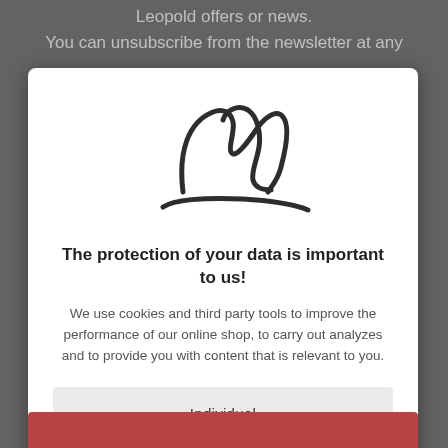Leopold offers or news.
You can unsubscribe from the newsletter at any
[Figure (logo): Stylized cursive logo with a decorative M-like calligraphic mark above a horizontal flourish line]
The protection of your data is important to us!
We use cookies and third party tools to improve the performance of our online shop, to carry out analyzes and to provide you with content that is relevant to you.
Individual